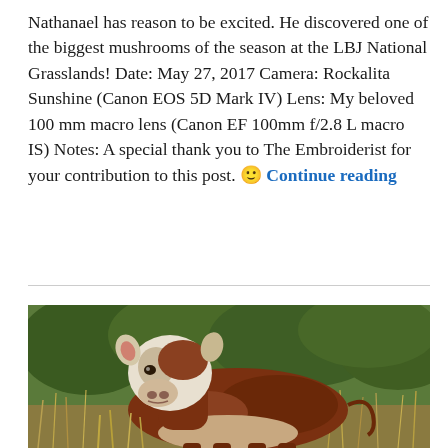Nathanael has reason to be excited.  He discovered one of the biggest mushrooms of the season at the LBJ National Grasslands!   Date:  May 27, 2017  Camera:  Rockalita Sunshine (Canon EOS 5D Mark IV)  Lens:  My beloved 100 mm macro lens (Canon EF 100mm f/2.8 L macro IS) Notes:  A special thank you to The Embroiderist for your contribution to this post.  🙂 Continue reading
[Figure (photo): A brown and white Hereford cow standing in tall dry grass with green bushes/trees in the background, looking directly at the camera.]